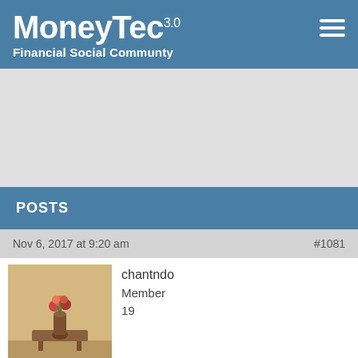MoneyTec 3.0 — Financial Social Communty
[Figure (other): Gray advertisement/banner placeholder area]
POSTS
Nov 6, 2017 at 9:20 am   #1081
[Figure (photo): User avatar showing a flower vase on a table]
chantndo
Member
19
Nowadays, you have to be very careful when choosing brokers since there are very many scams in the money